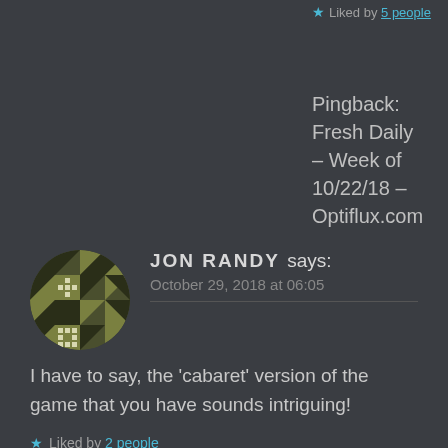★ Liked by 5 people
Pingback: Fresh Daily – Week of 10/22/18 – Optiflux.com
[Figure (illustration): Circular avatar with olive/dark yellow geometric quilt-like pattern on dark background]
JON RANDY says: October 29, 2018 at 06:05
I have to say, the 'cabaret' version of the game that you have sounds intriguing!
★ Liked by 2 people